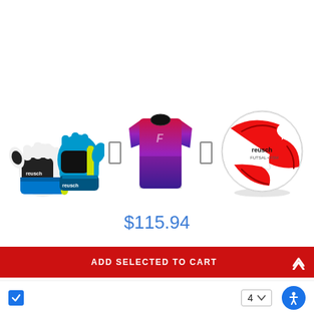[Figure (screenshot): E-commerce product bundle page showing three products: Reusch goalkeeper gloves (white/black/blue/yellow), a purple-to-red gradient long-sleeve jersey, and a Reusch white/red futsal soccer ball, with separators between products.]
$115.94
ADD SELECTED TO CART
[Figure (other): Checkbox (checked, blue), quantity selector showing '4' with dropdown arrow, and accessibility icon (blue circular button with person icon)]